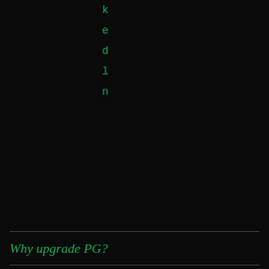k e d l n
Why upgrade PG?
explain.D.C
paste.D.C
Waiting for ...
Projects